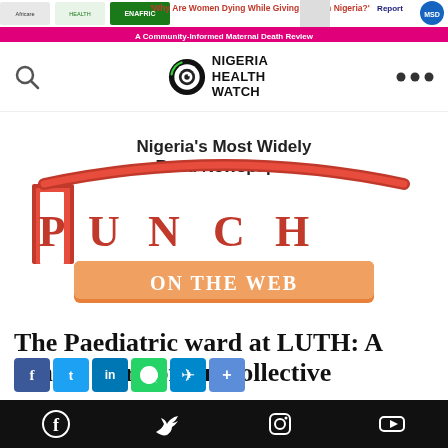[Figure (screenshot): Top advertisement banner for Nigeria Health Watch / MSD report about women dying while giving birth in Nigeria]
[Figure (logo): Nigeria Health Watch logo with eye icon in navigation bar]
[Figure (logo): Punch On The Web newspaper logo - Nigeria's Most Widely Read Newspaper]
The Paediatric ward at LUTH: A simple story of our collective
[Figure (screenshot): Social media share buttons row: Facebook, Twitter, LinkedIn, WhatsApp, Telegram, Share+]
[Figure (screenshot): Bottom navigation bar with Facebook, Twitter, Instagram, YouTube icons]